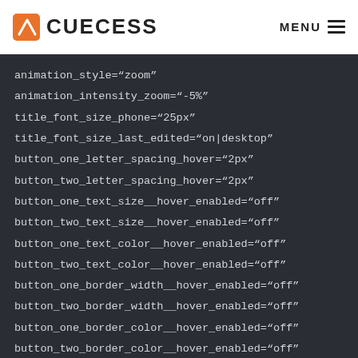CUECESS | MENU
animation_style="zoom"
animation_intensity_zoom="-5%"
title_font_size_phone="25px"
title_font_size_last_edited="on|desktop"
button_one_letter_spacing_hover="2px"
button_two_letter_spacing_hover="2px"
button_one_text_size__hover_enabled="off"
button_two_text_size__hover_enabled="off"
button_one_text_color__hover_enabled="off"
button_two_text_color__hover_enabled="off"
button_one_border_width__hover_enabled="off"
button_two_border_width__hover_enabled="off"
button_one_border_color__hover_enabled="off"
button_two_border_color__hover_enabled="off"